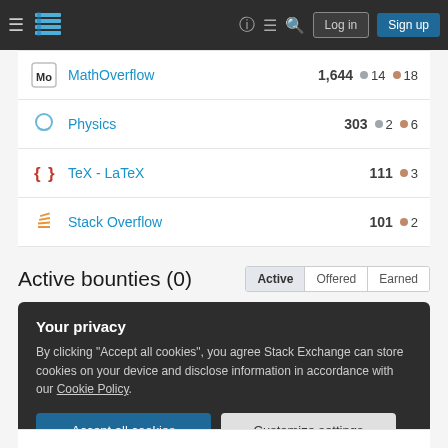Stack Exchange navigation bar with Log in and Sign up buttons
MathOverflow 1,644 ● 14 ● 18
Physics 303 ● 2 ● 6
TeX - LaTeX 111 ● 3
Stack Overflow 101 ● 2
Active bounties (0)
Your privacy
By clicking "Accept all cookies", you agree Stack Exchange can store cookies on your device and disclose information in accordance with our Cookie Policy.
Accept all cookies   Customize settings